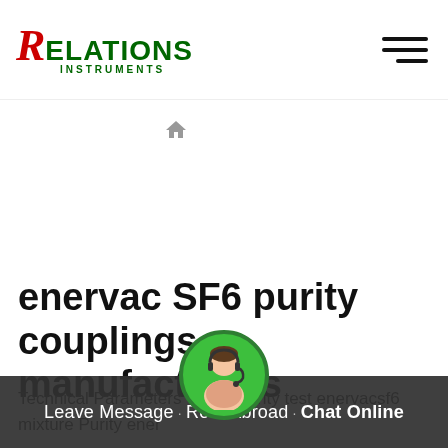RELATIONS INSTRUMENTS
[Figure (logo): Relations Instruments logo with stylized red R and green text]
[Figure (other): Home icon / breadcrumb navigation icon]
enervac SF6 purity couplings manufacturers
Technical Parameters Of sf6 Purity test enervacsf6 mixture Purity ener
Leave Message | Ro... Abroad | Chat Online